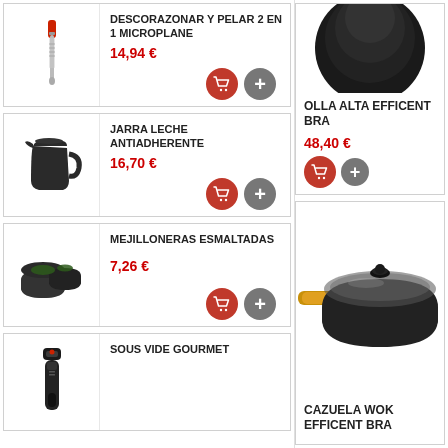[Figure (photo): Red-handled Microplane 2-in-1 corer and peeler tool]
DESCORAZONAR Y PELAR 2 EN 1 MICROPLANE
14,94 €
[Figure (photo): Black non-stick milk pitcher jug]
JARRA LECHE ANTIADHERENTE
16,70 €
[Figure (photo): Enameled mussel pots, black cookware]
MEJILLONERAS ESMALTADAS
7,26 €
[Figure (photo): Sous vide gourmet device]
SOUS VIDE GOURMET
[Figure (photo): Black Efficent BRA tall pot, partial view from top]
OLLA ALTA EFFICENT BRA
48,40 €
[Figure (photo): Black Efficent BRA wok cazuela with glass lid and wooden handle]
CAZUELA WOK EFFICENT BRA